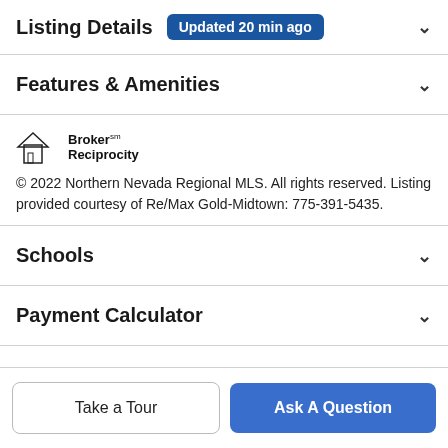Listing Details Updated 20 min ago
Features & Amenities
[Figure (logo): Broker Reciprocity logo with house icon]
© 2022 Northern Nevada Regional MLS. All rights reserved. Listing provided courtesy of Re/Max Gold-Midtown: 775-391-5435.
Schools
Payment Calculator
Contact Agent
Take a Tour
Ask A Question